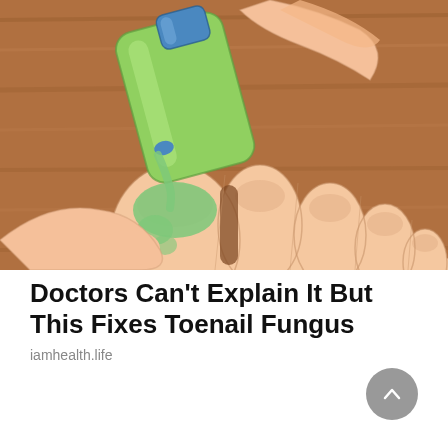[Figure (illustration): Illustrated image of a hand applying green liquid from a bottle onto a big toenail, with other toes visible. Set against a brown wooden background. The illustration shows a medical/home remedy application technique for toenail fungus.]
Doctors Can't Explain It But This Fixes Toenail Fungus
iamhealth.life